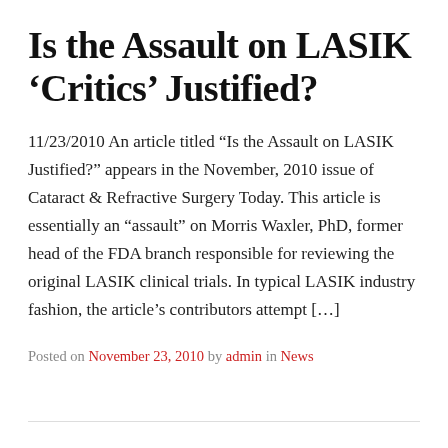Is the Assault on LASIK ‘Critics’ Justified?
11/23/2010 An article titled “Is the Assault on LASIK Justified?” appears in the November, 2010 issue of Cataract & Refractive Surgery Today. This article is essentially an “assault” on Morris Waxler, PhD, former head of the FDA branch responsible for reviewing the original LASIK clinical trials. In typical LASIK industry fashion, the article’s contributors attempt […]
Posted on November 23, 2010 by admin in News